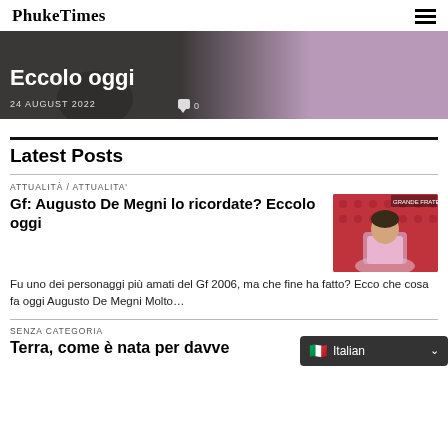Phuке Times
[Figure (photo): Hero banner image showing a person partially visible, dark overlaid background with text 'Eccolo oggi', date '24 AUGUST 2022' and comment count '0']
Latest Posts
ATTUALITÀ / ATTUALITA'
Gf: Augusto De Megni lo ricordate? Eccolo oggi
[Figure (photo): Thumbnail photo of Augusto De Megni sitting in a chair wearing a pink long-sleeve shirt, against a red dotted background]
Fu uno dei personaggi più amati del Gf 2006, ma che fine ha fatto? Ecco che cosa fa oggi Augusto De Megni Molto…
SENZA CATEGORIA
Terra, come è nata per davve